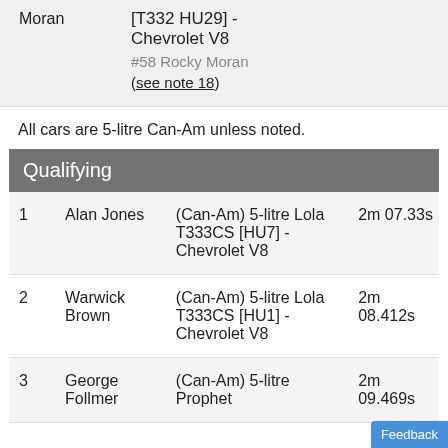| Moran | [T332 HU29] - Chevrolet V8
#58 Rocky Moran
(see note 18) |
All cars are 5-litre Can-Am unless noted.
| Qualifying |
| --- |
| 1 | Alan Jones | (Can-Am) 5-litre Lola T333CS [HU7] - Chevrolet V8 | 2m 07.33s |
| 2 | Warwick Brown | (Can-Am) 5-litre Lola T333CS [HU1] - Chevrolet V8 | 2m 08.412s |
| 3 | George Follmer | (Can-Am) 5-litre Prophet | 2m 09.469s |